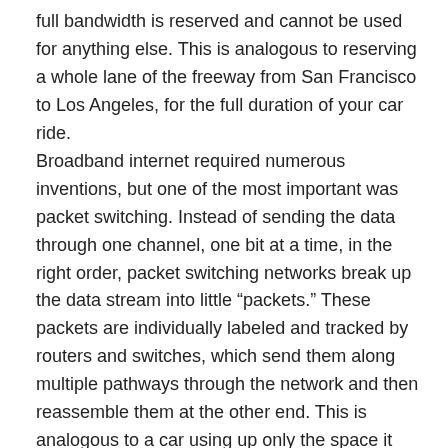full bandwidth is reserved and cannot be used for anything else. This is analogous to reserving a whole lane of the freeway from San Francisco to Los Angeles, for the full duration of your car ride.
Broadband internet required numerous inventions, but one of the most important was packet switching. Instead of sending the data through one channel, one bit at a time, in the right order, packet switching networks break up the data stream into little “packets.” These packets are individually labeled and tracked by routers and switches, which send them along multiple pathways through the network and then reassemble them at the other end. This is analogous to a car using up only the space it actually needs at any given time, and leaving the lane behind it and in front of it for other cars to use.